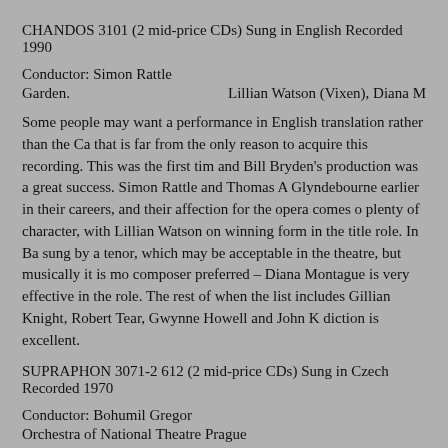CHANDOS 3101 (2 mid-price CDs) Sung in English Recorded 1990
Conductor: Simon Rattle
Garden.                    Lillian Watson (Vixen), Diana M
Some people may want a performance in English translation rather than the Ca that is far from the only reason to acquire this recording. This was the first tim and Bill Bryden's production was a great success. Simon Rattle and Thomas A Glyndebourne earlier in their careers, and their affection for the opera comes o plenty of character, with Lillian Watson on winning form in the title role. In Ba sung by a tenor, which may be acceptable in the theatre, but musically it is mo composer preferred – Diana Montague is very effective in the role. The rest of when the list includes Gillian Knight, Robert Tear, Gwynne Howell and John K diction is excellent.
SUPRAPHON 3071-2 612 (2 mid-price CDs) Sung in Czech Recorded 1970
Conductor: Bohumil Gregor
Orchestra of National Theatre Prague
Helena Tattermuschová (Vixen), Eva Zikmundová (Fox), Zdeněk Kroupa (For
This recording was for many years the only one available. It also serves as a re the 1970 Edinburgh Festival, when the opera was a far greater rarity than it is n